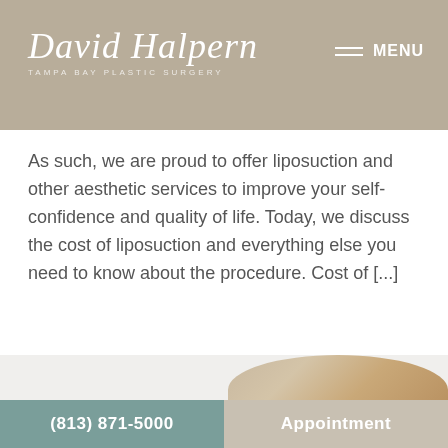David Halpern Tampa Bay Plastic Surgery MENU
As such, we are proud to offer liposuction and other aesthetic services to improve your self-confidence and quality of life. Today, we discuss the cost of liposuction and everything else you need to know about the procedure. Cost of [...]
READ MORE →
[Figure (photo): Partial portrait of a woman with blonde hair against a light background]
(813) 871-5000    Appointment